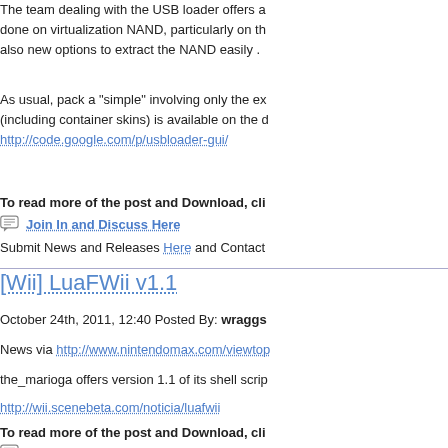The team dealing with the USB loader offers a... done on virtualization NAND, particularly on th... also new options to extract the NAND easily .
As usual, pack a "simple" involving only the ex... (including container skins) is available on the d... http://code.google.com/p/usbloader-gui/
To read more of the post and Download, cli...
Join In and Discuss Here
Submit News and Releases Here and Contact
[Wii] LuaFWii v1.1
October 24th, 2011, 12:40 Posted By: wraggs
News via http://www.nintendomax.com/viewto...
the_marioga offers version 1.1 of its shell scrip...
http://wii.scenebeta.com/noticia/luafwii
To read more of the post and Download, cli...
Join In and Discuss Here